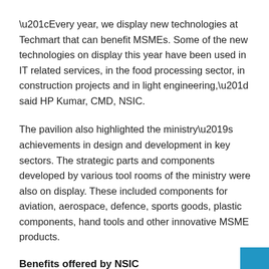“Every year, we display new technologies at Techmart that can benefit MSMEs. Some of the new technologies on display this year have been used in IT related services, in the food processing sector, in construction projects and in light engineering,” said HP Kumar, CMD, NSIC.
The pavilion also highlighted the ministry’s achievements in design and development in key sectors. The strategic parts and components developed by various tool rooms of the ministry were also on display. These included components for aviation, aerospace, defence, sports goods, plastic components, hand tools and other innovative MSME products.
Benefits offered by NSIC
The terms and conditions to participate in this fair are